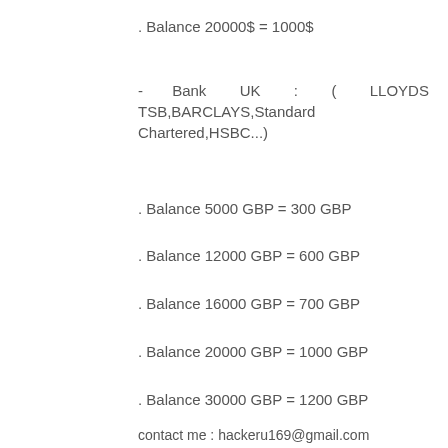. Balance 20000$ = 1000$
- Bank UK : ( LLOYDS TSB,BARCLAYS,Standard Chartered,HSBC...)
. Balance 5000 GBP = 300 GBP
. Balance 12000 GBP = 600 GBP
. Balance 16000 GBP = 700 GBP
. Balance 20000 GBP = 1000 GBP
. Balance 30000 GBP = 1200 GBP
contact me : hackeru169@gmail.com